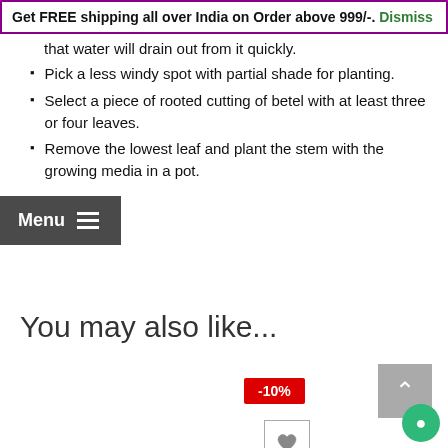Get FREE shipping all over India on Order above 999/-. Dismiss
that water will drain out from it quickly.
Pick a less windy spot with partial shade for planting.
Select a piece of rooted cutting of betel with at least three or four leaves.
Remove the lowest leaf and plant the stem with the growing media in a pot.
You may also like...
[Figure (screenshot): Product card showing -10% discount badge, wishlist heart button, and compare arrows button]